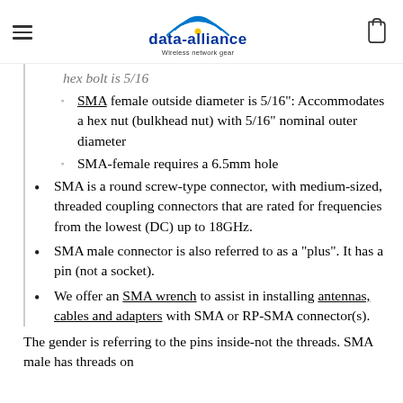data-alliance — Wireless network gear
hex bolt is 5/16 (partial, cut off at top)
SMA female outside diameter is 5/16": Accommodates a hex nut (bulkhead nut) with 5/16" nominal outer diameter
SMA-female requires a 6.5mm hole
SMA is a round screw-type connector, with medium-sized, threaded coupling connectors that are rated for frequencies from the lowest (DC) up to 18GHz.
SMA male connector is also referred to as a "plus". It has a pin (not a socket).
We offer an SMA wrench to assist in installing antennas, cables and adapters with SMA or RP-SMA connector(s).
The gender is referring to the pins inside-not the threads. SMA male has threads on